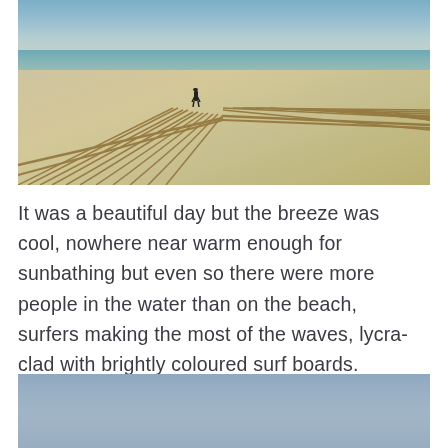[Figure (photo): A beach scene showing a person standing between wooden sand fences on a wide sandy beach, with the ocean and sky in the background. The day appears overcast and cool.]
It was a beautiful day but the breeze was cool, nowhere near warm enough for sunbathing but even so there were more people in the water than on the beach, surfers making the most of the waves, lycra-clad with brightly coloured surf boards.
[Figure (photo): Partial view of a grey-blue sky, likely part of a beach or coastal scene, shown cropped at the bottom of the page.]